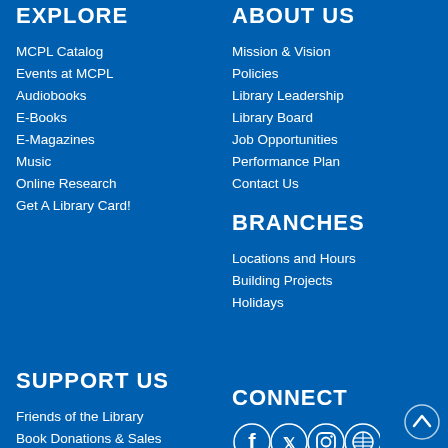EXPLORE
MCPL Catalog
Events at MCPL
Audiobooks
E-Books
E-Magazines
Music
Online Research
Get A Library Card!
ABOUT US
Mission & Vision
Policies
Library Leadership
Library Board
Job Opportunities
Performance Plan
Contact Us
BRANCHES
Locations and Hours
Building Projects
Holidays
SUPPORT US
Friends of the Library
Book Donations & Sales
CONNECT
[Figure (illustration): Social media icons: Facebook, Twitter, Instagram, WordPress]